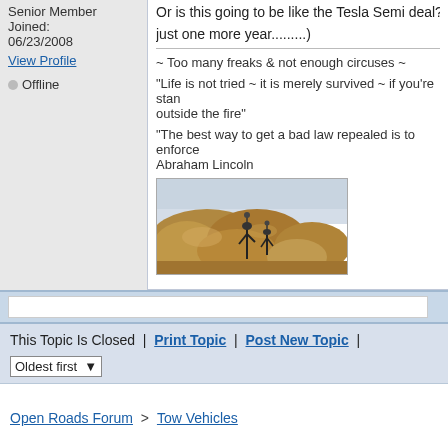Senior Member
Joined: 06/23/2008
View Profile
Offline
Or is this going to be like the Tesla Semi deal? 😬 (just one more year.........)
~ Too many freaks & not enough circuses ~
"Life is not tried ~ it is merely survived ~ if you're standing outside the fire"
"The best way to get a bad law repealed is to enforce it." ~ Abraham Lincoln
[Figure (photo): Photo of an ostrich standing on rocky boulders against a sky background]
This Topic Is Closed  |  Print Topic  |  Post New Topic  |
Oldest first
Open Roads Forum  >  Tow Vehicles